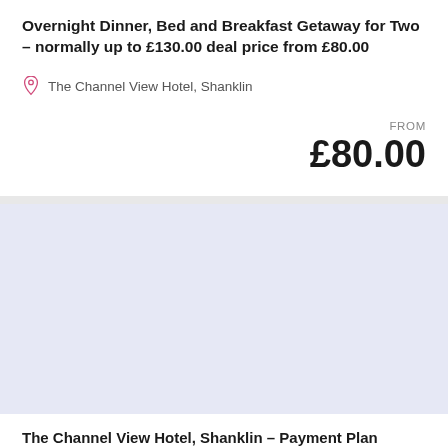Overnight Dinner, Bed and Breakfast Getaway for Two – normally up to £130.00 deal price from £80.00
The Channel View Hotel, Shanklin
FROM £80.00
[Figure (photo): Light blue/lavender placeholder image area representing a hotel or venue photo]
The Channel View Hotel, Shanklin – Payment Plan